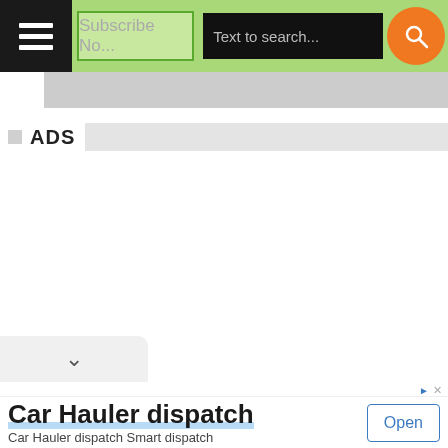Subscribe No... | Text to search...
ADS
[Figure (screenshot): Mobile app interface showing navigation bar with menu icon, subscribe button, search bar, and orange search button. Below is an ADS section header and white content area with a collapse tab. At the bottom is an advertisement for 'Car Hauler dispatch' with an Open button.]
Car Hauler dispatch
Car Hauler dispatch Smart dispatch